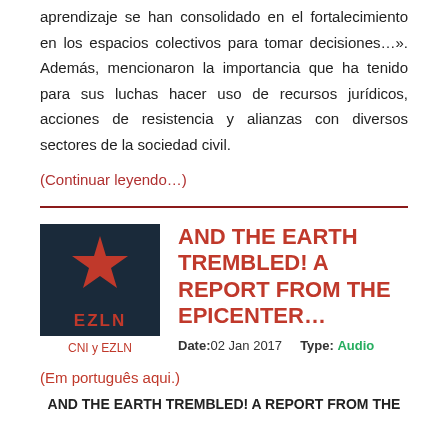aprendizaje se han consolidado en el fortalecimiento en los espacios colectivos para tomar decisiones…». Además, mencionaron la importancia que ha tenido para sus luchas hacer uso de recursos jurídicos, acciones de resistencia y alianzas con diversos sectores de la sociedad civil.
(Continuar leyendo…)
[Figure (photo): Photo of EZLN flag (dark background with red star) with text 'EZLN' in red]
CNI y EZLN
AND THE EARTH TREMBLED! A REPORT FROM THE EPICENTER…
Date:02 Jan 2017    Type: Audio
(Em português aqui.)
AND THE EARTH TREMBLED! A REPORT FROM THE